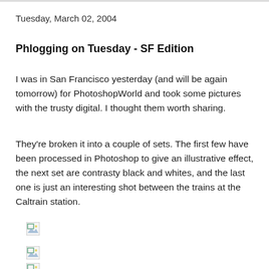Tuesday, March 02, 2004
Phlogging on Tuesday - SF Edition
I was in San Francisco yesterday (and will be again tomorrow) for PhotoshopWorld and took some pictures with the trusty digital. I thought them worth sharing.
They're broken it into a couple of sets. The first few have been processed in Photoshop to give an illustrative effect, the next set are contrasty black and whites, and the last one is just an interesting shot between the trains at the Caltrain station.
[Figure (photo): Broken image placeholder 1]
[Figure (photo): Broken image placeholder 2]
[Figure (photo): Broken image placeholder 3]